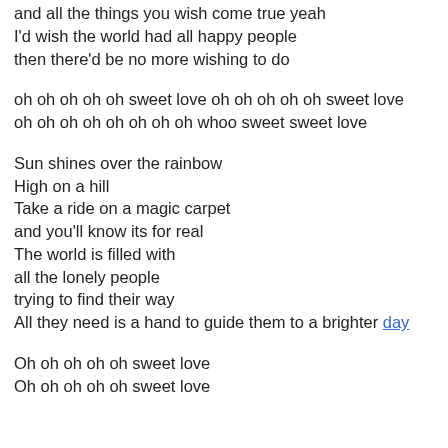and all the things you wish come true yeah
I'd wish the world had all happy people
then there'd be no more wishing to do
oh oh oh oh oh sweet love oh oh oh oh oh sweet love
oh oh oh oh oh oh oh oh whoo sweet sweet love
Sun shines over the rainbow
High on a hill
Take a ride on a magic carpet
and you'll know its for real
The world is filled with
all the lonely people
trying to find their way
All they need is a hand to guide them to a brighter day
Oh oh oh oh oh sweet love
Oh oh oh oh oh sweet love